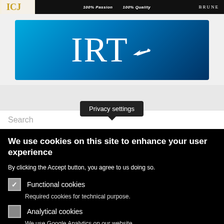[Figure (logo): Top dark banner with logo on left showing gold letters, slogans '100% Passion' and '100% Quality' in center, and 'BRUNE' brand name on right]
[Figure (logo): IRT logo banner: blue gradient background with large white 'IRT' serif text followed by white airplane icon]
Search
Privacy settings
We use cookies on this site to enhance your user experience
By clicking the Accept button, you agree to us doing so.
Functional cookies
Required cookies for technical purpose.
Analytical cookies
We use Google Analytics on our website.
Save preferences
Accept all cookies